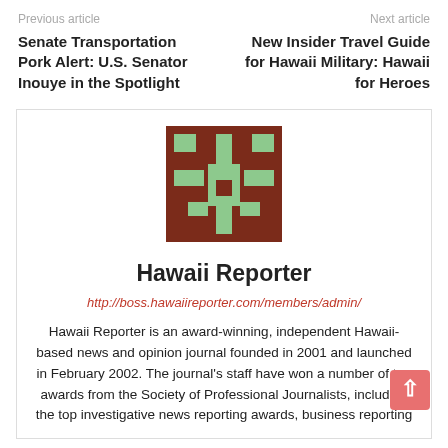Previous article
Next article
Senate Transportation Pork Alert: U.S. Senator Inouye in the Spotlight
New Insider Travel Guide for Hawaii Military: Hawaii for Heroes
[Figure (logo): Hawaii Reporter logo: brown background with green pixelated figure/cactus design]
Hawaii Reporter
http://boss.hawaiireporter.com/members/admin/
Hawaii Reporter is an award-winning, independent Hawaii-based news and opinion journal founded in 2001 and launched in February 2002. The journal's staff have won a number of top awards from the Society of Professional Journalists, including the top investigative news reporting awards, business reporting